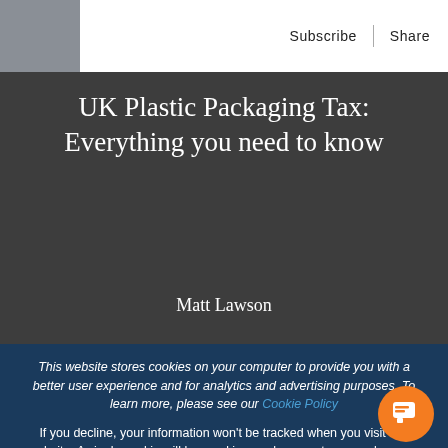Subscribe | Share
UK Plastic Packaging Tax: Everything you need to know
Matt Lawson
This website stores cookies on your computer to provide you with a better user experience and for analytics and advertising purposes. To learn more, please see our Cookie Policy
If you decline, your information won't be tracked when you visit this website. A single cookie will be used in your browser to remember your preference not to be tracked.